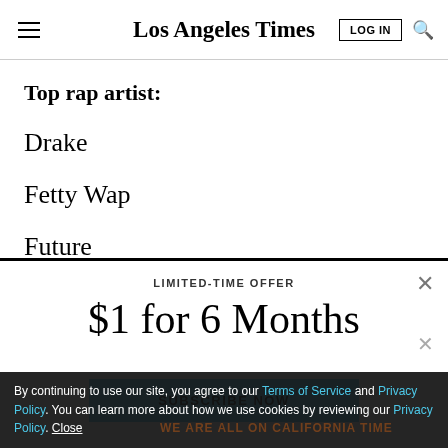Los Angeles Times
Top rap artist:
Drake
Fetty Wap
Future
LIMITED-TIME OFFER
$1 for 6 Months
SUBSCRIBE NOW
By continuing to use our site, you agree to our Terms of Service and Privacy Policy. You can learn more about how we use cookies by reviewing our Privacy Policy. Close